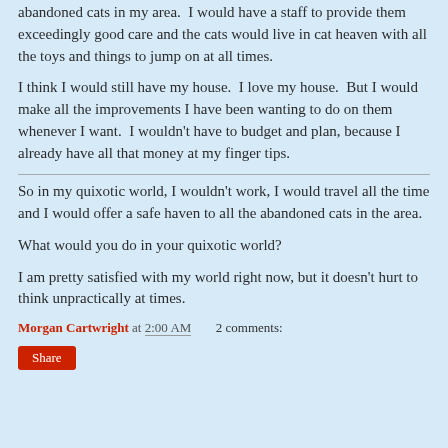abandoned cats in my area.  I would have a staff to provide them exceedingly good care and the cats would live in cat heaven with all the toys and things to jump on at all times.
I think I would still have my house.  I love my house.  But I would make all the improvements I have been wanting to do on them whenever I want.  I wouldn't have to budget and plan, because I already have all that money at my finger tips.
So in my quixotic world, I wouldn't work, I would travel all the time and I would offer a safe haven to all the abandoned cats in the area.
What would you do in your quixotic world?
I am pretty satisfied with my world right now, but it doesn't hurt to think unpractically at times.
Morgan Cartwright at 2:00 AM    2 comments:
Share